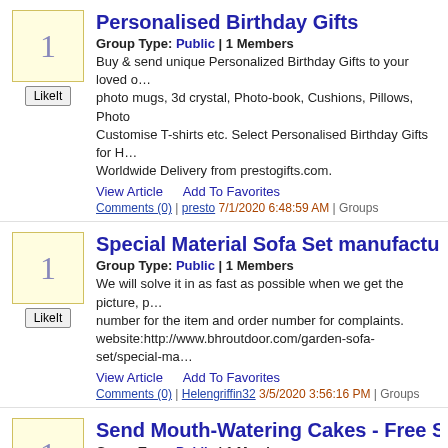Personalised Birthday Gifts
Group Type: Public | 1 Members
Buy & send unique Personalized Birthday Gifts to your loved o… photo mugs, 3d crystal, Photo-book, Cushions, Pillows, Photo Customise T-shirts etc. Select Personalised Birthday Gifts for H… Worldwide Delivery from prestogifts.com.
View Article   Add To Favorites
Comments (0) | presto 7/1/2020 6:48:59 AM | Groups
Special Material Sofa Set manufacturers
Group Type: Public | 1 Members
We will solve it in as fast as possible when we get the picture, p… number for the item and order number for complaints. website:http://www.bhroutdoor.com/garden-sofa-set/special-ma…
View Article   Add To Favorites
Comments (0) | Helengriffin32 3/5/2020 3:56:16 PM | Groups
Send Mouth-Watering Cakes - Free Shipping, Sa…
Group Type: Public | 1 Members
Nowadays, Sending Birthday Cakes Online to Pune has becom… and faster than ever before. In just a few clicks you can get on-… doorstep of your loved one.
View Article   Add To Favorites
Comments (0) | Rimasarkar 1/5/2020 10:19:50 PM | Groups